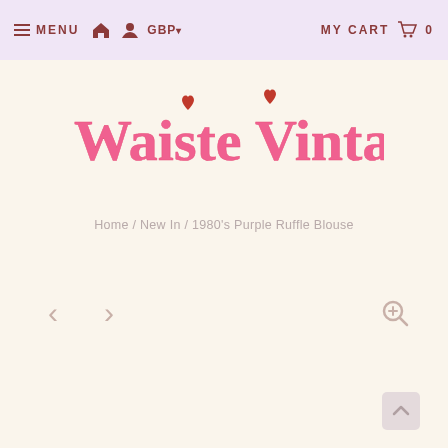≡ MENU  🏠  👤  GBP▾  MY CART  🛒  0
[Figure (logo): Waiste Vintage script logo in pink with red heart accents]
Home / New In / 1980's Purple Ruffle Blouse
[Figure (other): Navigation arrows (left, right) and zoom icon for product image viewer]